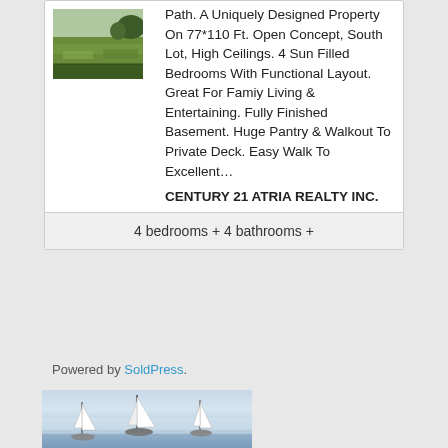[Figure (photo): Photo of a grassy yard or lawn, green grass with some darker areas]
Path. A Uniquely Designed Property On 77*110 Ft. Open Concept, South Lot, High Ceilings. 4 Sun Filled Bedrooms With Functional Layout. Great For Famiy Living & Entertaining. Fully Finished Basement. Huge Pantry & Walkout To Private Deck. Easy Walk To Excellent…
CENTURY 21 ATRIA REALTY INC.
4 bedrooms + 4 bathrooms +
Powered by SoldPress.
[Figure (photo): Photo of sailboats on water with a misty/hazy sky background]